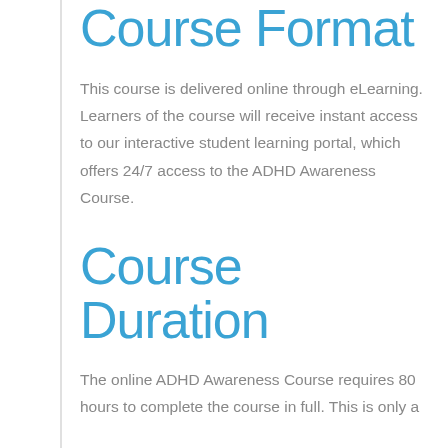Course Format
This course is delivered online through eLearning. Learners of the course will receive instant access to our interactive student learning portal, which offers 24/7 access to the ADHD Awareness Course.
Course Duration
The online ADHD Awareness Course requires 80 hours to complete the course in full. This is only a